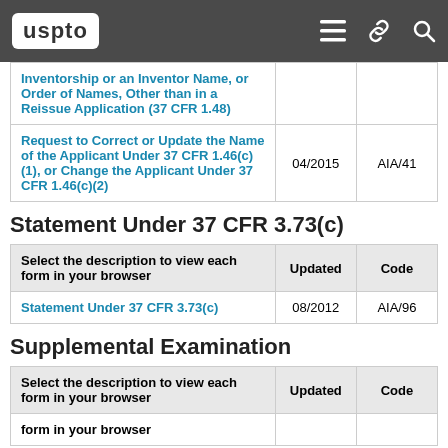uspto
| Select the description to view each form in your browser | Updated | Code |
| --- | --- | --- |
| Inventorship or an Inventor Name, or Order of Names, Other than in a Reissue Application (37 CFR 1.48) |  |  |
| Request to Correct or Update the Name of the Applicant Under 37 CFR 1.46(c)(1), or Change the Applicant Under 37 CFR 1.46(c)(2) | 04/2015 | AIA/41 |
Statement Under 37 CFR 3.73(c)
| Select the description to view each form in your browser | Updated | Code |
| --- | --- | --- |
| Statement Under 37 CFR 3.73(c) | 08/2012 | AIA/96 |
Supplemental Examination
| Select the description to view each form in your browser | Updated | Code |
| --- | --- | --- |